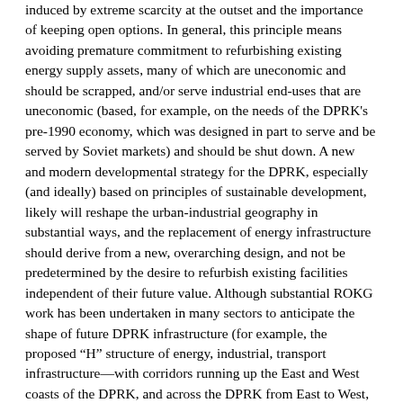induced by extreme scarcity at the outset and the importance of keeping open options. In general, this principle means avoiding premature commitment to refurbishing existing energy supply assets, many of which are uneconomic and should be scrapped, and/or serve industrial end-uses that are uneconomic (based, for example, on the needs of the DPRK's pre-1990 economy, which was designed in part to serve and be served by Soviet markets) and should be shut down. A new and modern developmental strategy for the DPRK, especially (and ideally) based on principles of sustainable development, likely will reshape the urban-industrial geography in substantial ways, and the replacement of energy infrastructure should derive from a new, overarching design, and not be predetermined by the desire to refurbish existing facilities independent of their future value. Although substantial ROKG work has been undertaken in many sectors to anticipate the shape of future DPRK infrastructure (for example, the proposed “H” structure of energy, industrial, transport infrastructure—with corridors running up the East and West coasts of the DPRK, and across the DPRK from East to West, as suggested by an ROK infrastructure expert[13]), most of the macroeconomic policy work that will determine these outcomes will not be undertaken until inter-Korean rapprochement or, less likely, the post-collapse or post-conflict decision-making are well underway.
It should be noted that “economic” in the DPRK case currently does and will at least initially since and after open transaction, primarily